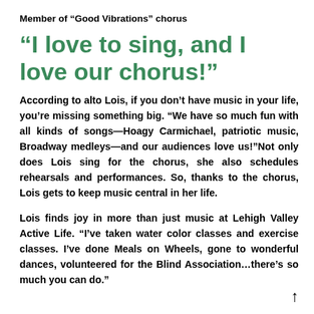Member of “Good Vibrations” chorus
“I love to sing, and I love our chorus!”
According to alto Lois, if you don’t have music in your life, you’re missing something big. “We have so much fun with all kinds of songs—Hoagy Carmichael, patriotic music, Broadway medleys—and our audiences love us!”Not only does Lois sing for the chorus, she also schedules rehearsals and performances. So, thanks to the chorus, Lois gets to keep music central in her life.
Lois finds joy in more than just music at Lehigh Valley Active Life. “I’ve taken water color classes and exercise classes. I’ve done Meals on Wheels, gone to wonderful dances, volunteered for the Blind Association…there’s so much you can do.”